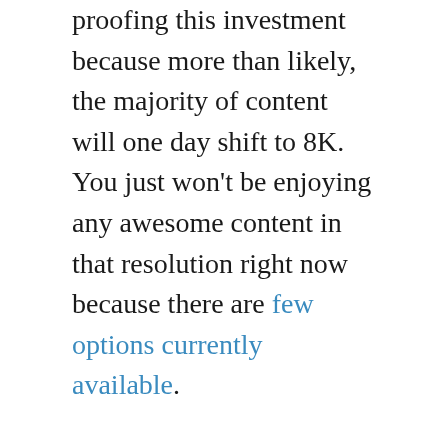proofing this investment because more than likely, the majority of content will one day shift to 8K. You just won't be enjoying any awesome content in that resolution right now because there are few options currently available.
The one huge risk that you take on by purchasing the Z9 is the pesky issue of burn-in, which occurs whenever a persistent part of the image of a screen, such as a channel logo or a scoreboard from a sports game, remains as a ghostly background no matter what else is being shown on the screen. These static image elements have “worn out” certain areas of an OLED screen’s organic materials faster than the rest of the